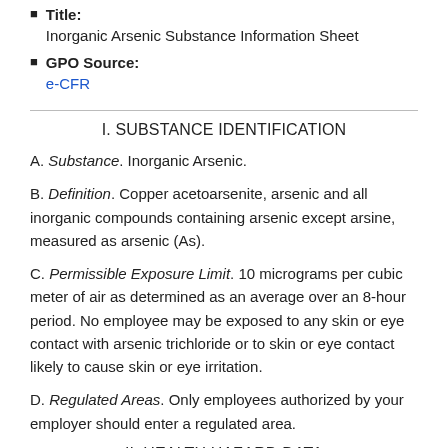Title: Inorganic Arsenic Substance Information Sheet
GPO Source: e-CFR
I. SUBSTANCE IDENTIFICATION
A. Substance. Inorganic Arsenic.
B. Definition. Copper acetoarsenite, arsenic and all inorganic compounds containing arsenic except arsine, measured as arsenic (As).
C. Permissible Exposure Limit. 10 micrograms per cubic meter of air as determined as an average over an 8-hour period. No employee may be exposed to any skin or eye contact with arsenic trichloride or to skin or eye contact likely to cause skin or eye irritation.
D. Regulated Areas. Only employees authorized by your employer should enter a regulated area.
II. HEALTH HAZARD DATA
A. Comments. The health hazard of inorganic arsenic is high.